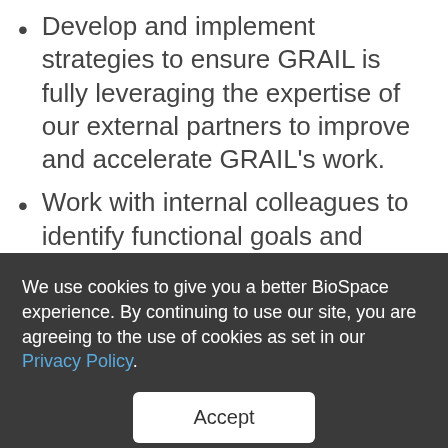Develop and implement strategies to ensure GRAIL is fully leveraging the expertise of our external partners to improve and accelerate GRAIL’s work.
Work with internal colleagues to identify functional goals and develop a third party association engagement strategy to support those goals.
Build and implement strategies to increase awareness of the burden of unscreened cancers, the benefits of cancer early detection,
We use cookies to give you a better BioSpace experience. By continuing to use our site, you are agreeing to the use of cookies as set in our Privacy Policy.
Accept